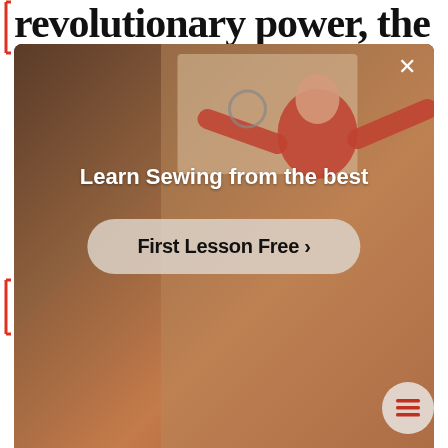revolutionary power, the
[Figure (screenshot): Advertisement overlay showing a person sewing, with text 'Learn Sewing from the best' and a 'First Lesson Free >' button. A close (×) button appears in the top right corner.]
Beuys
Arts and crafts are making a comeback in the digital age thanks to social media like Pinterest and Instagram. Knitting, sewing, interior design, etc. are all manual activities that allow you to relax and let your imagination run wild. If you're interested in embroidery, here's some advice to get you started